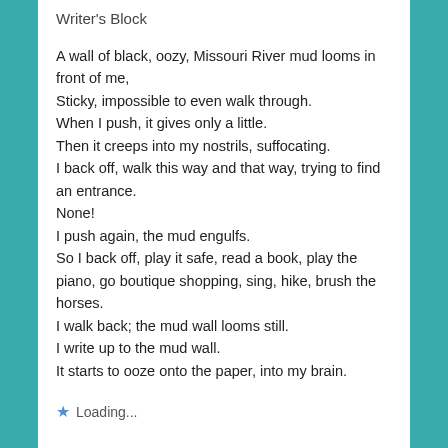Writer's Block
A wall of black, oozy, Missouri River mud looms in front of me,
Sticky, impossible to even walk through.
When I push, it gives only a little.
Then it creeps into my nostrils, suffocating.
I back off, walk this way and that way, trying to find an entrance.
None!
I push again, the mud engulfs.
So I back off, play it safe, read a book, play the piano, go boutique shopping, sing, hike, brush the horses.
I walk back; the mud wall looms still.
I write up to the mud wall.
It starts to ooze onto the paper, into my brain.
★ Loading...